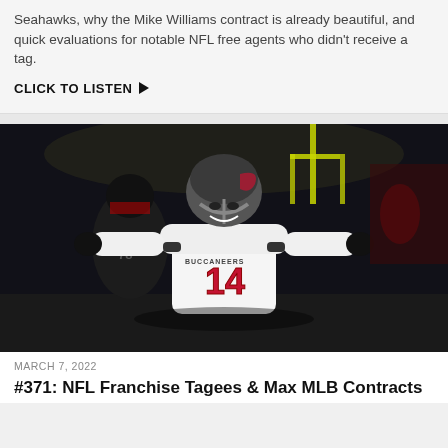Seahawks, why the Mike Williams contract is already beautiful, and quick evaluations for notable NFL free agents who didn't receive a tag.
CLICK TO LISTEN ▶
[Figure (photo): NFL player wearing Tampa Bay Buccaneers white jersey number 14, celebrating on the field at night game, with opposing player in dark jersey in background]
MARCH 7, 2022
#371: NFL Franchise Tagees & Max MLB Contracts